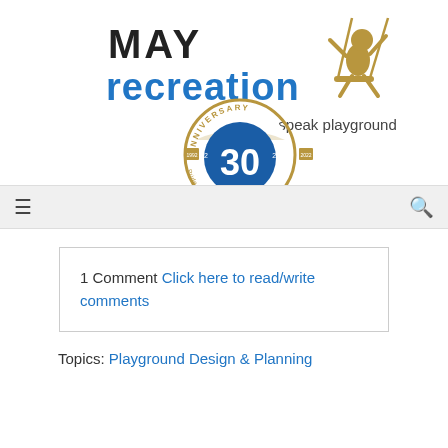[Figure (logo): MAY Recreation logo with 30th Anniversary badge (1992-2022). Logo shows 'MAY' in black bold, 'recreation' in blue bold, tagline 'we speak playground', and a gold/blue 30th anniversary circular badge with a child on swing silhouette.]
[Figure (other): Navigation bar with hamburger menu icon on left and search magnifying glass icon on right, on gray background.]
1 Comment Click here to read/write comments
Topics: Playground Design & Planning